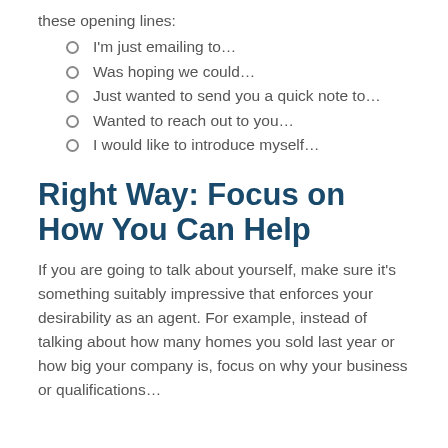these opening lines:
I'm just emailing to…
Was hoping we could…
Just wanted to send you a quick note to…
Wanted to reach out to you…
I would like to introduce myself…
Right Way: Focus on How You Can Help
If you are going to talk about yourself, make sure it's something suitably impressive that enforces your desirability as an agent. For example, instead of talking about how many homes you sold last year or how big your company is, focus on why your business or qualifications…